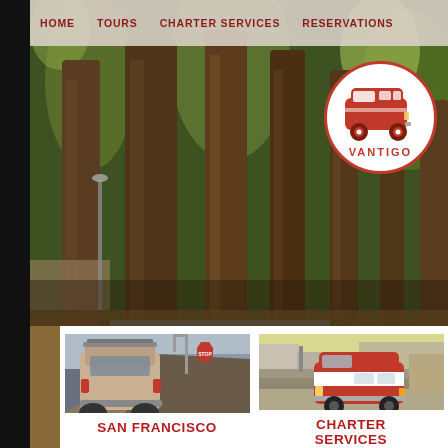HOME   TOURS   CHARTER SERVICES   RESERVATIONS
[Figure (photo): Hero photo of tall redwood trees lining a road in San Francisco, with sunlight through the canopy. Includes Vantigo circular logo (red VW van icon with text VANTIGO) overlaid at upper right.]
A truly unique San Francisco adv
[Figure (photo): Photo of the back of a vintage VW van (red and white) on a steep San Francisco street with city view in background]
[Figure (photo): Photo of a red and white vintage VW van parked on a San Francisco street with storefronts in background]
SAN FRANCISCO
CHARTER
SERVICES